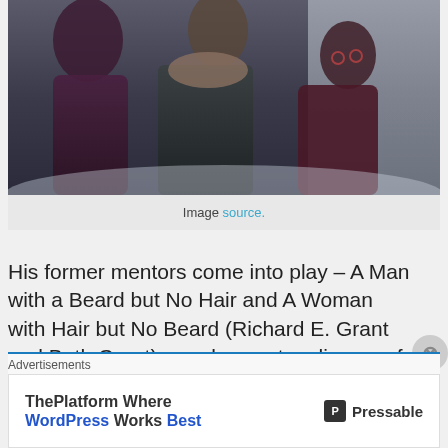[Figure (photo): Three people in winter coats standing outdoors in a snowy setting. One person wears a fur-collared coat, another wears glasses and a dark cape.]
Image source.
His former mentors come into play – A Man with a Beard but No Hair and A Woman with Hair but No Beard (Richard E. Grant and Beth Grant) – and we get a glimpse of the truly menacing forces working behind the scenes, though they remain
Advertisements
[Figure (screenshot): Advertisement banner: ThePlatform Where WordPress Works Best — Pressable]